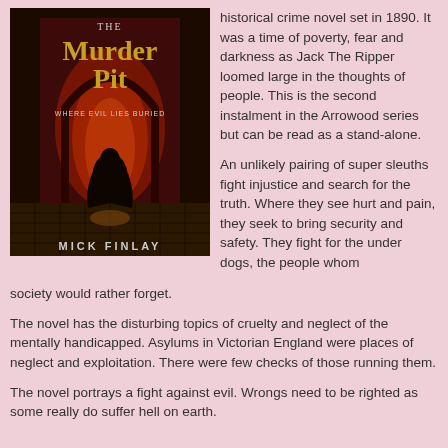[Figure (illustration): Book cover of 'The Murder Pit' by Mick Finlay. Dark red atmospheric scene showing a cloaked figure walking through a dimly lit archway on cobblestones. Title in gold text at top, subtitle 'Where Evil Lies Buried' in smaller text, author name 'MICK FINLAY' at bottom.]
historical crime novel set in 1890. It was a time of poverty, fear and darkness as Jack The Ripper loomed large in the thoughts of people. This is the second instalment in the Arrowood series but can be read as a stand-alone.
An unlikely pairing of super sleuths fight injustice and search for the truth. Where they see hurt and pain, they seek to bring security and safety. They fight for the under dogs, the people whom society would rather forget.
The novel has the disturbing topics of cruelty and neglect of the mentally handicapped. Asylums in Victorian England were places of neglect and exploitation. There were few checks of those running them.
The novel portrays a fight against evil. Wrongs need to be righted as some really do suffer hell on earth.